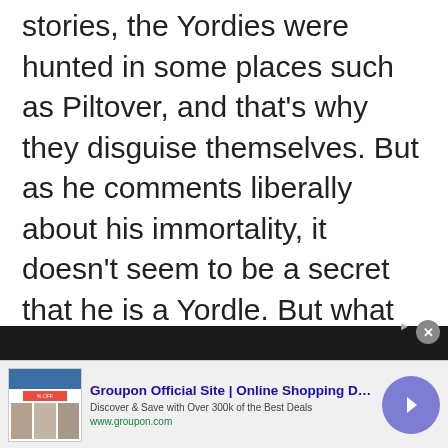stories, the Yordies were hunted in some places such as Piltover, and that's why they disguise themselves. But as he comments liberally about his immortality, it doesn't seem to be a secret that he is a Yordle. But what he says next, about the dangers of magic, doesn't match his age very well, since all the apocalyptic events of Runeterra happened at least a thousand years ago.
[Figure (screenshot): Advertisement banner for Groupon Official Site showing thumbnail images of shopping deals, the Groupon logo area, title text 'Groupon Official Site | Online Shopping Deals', description 'Discover & Save with Over 300k of the Best Deals', URL 'www.groupon.com', a close button (x), an ad info icon, and a navigation arrow button.]